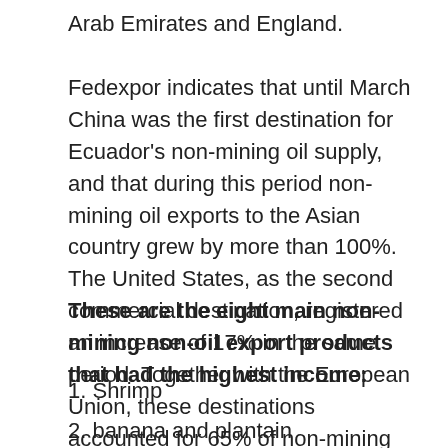Arab Emirates and England.
Fedexpor indicates that until March China was the first destination for Ecuador’s non-mining oil supply, and that during this period non-mining oil exports to the Asian country grew by more than 100%. The United States, as the second commercial destination, registered an increase of 17% in the same period. Together with the European Union, these destinations accounted for 65% of non-mining non-oil exports.
These are the eight main non-mining non-oil export products that had the highest income:
1. Shrimp
2. banana and plantain